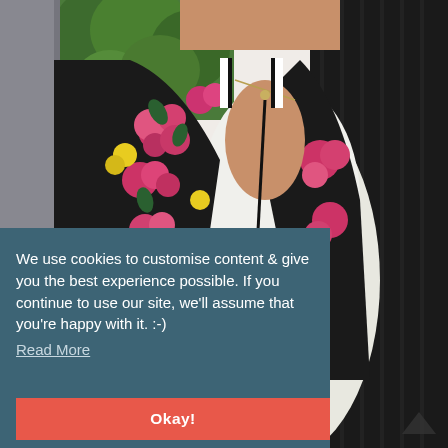[Figure (photo): A woman wearing a black floral bomber jacket with pink and yellow flowers over a white top, holding a bag, standing near green foliage and a dark wood-paneled wall background.]
We use cookies to customise content & give you the best experience possible. If you continue to use our site, we'll assume that you're happy with it. :-) Read More
Okay!